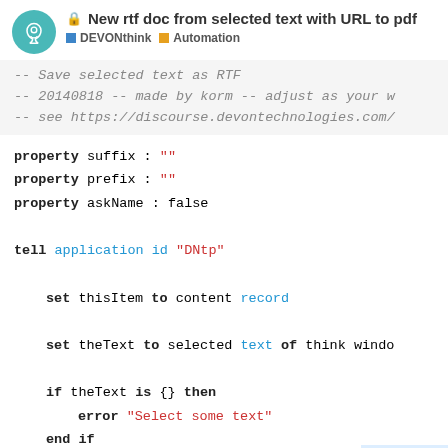🔒 New rtf doc from selected text with URL to pdf
DEVONthink  Automation
-- Save selected text as RTF
-- 20140818 -- made by korm -- adjust as your w
-- see https://discourse.devontechnologies.com/
property suffix : ""
property prefix : ""
property askName : false

tell application id "DNtp"

    set thisItem to content record

    set theText to selected text of think windo

    if theText is {} then
        error "Select some text"
    end if

    set theName to prefix & na
4 / 11